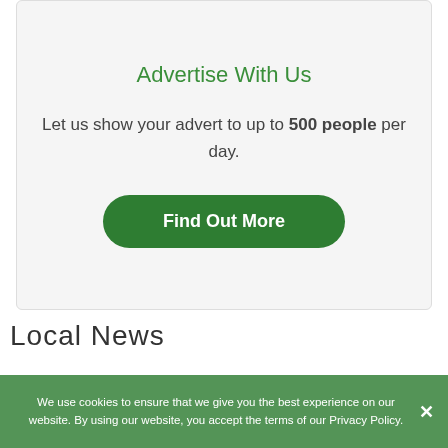Advertise With Us
Let us show your advert to up to 500 people per day.
Find Out More
Local News
We use cookies to ensure that we give you the best experience on our website. By using our website, you accept the terms of our Privacy Policy.